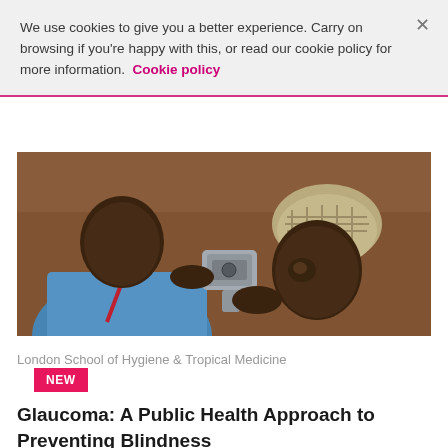We use cookies to give you a better experience. Carry on browsing if you're happy with this, or read our cookie policy for more information. Cookie policy
[Figure (photo): A healthcare worker using an ophthalmoscope or eye examination device to examine an elderly African patient's eye. The worker wears a blue shirt and red lanyard; the patient wears a patterned head covering. Background shows a brick wall.]
London School of Hygiene & Tropical Medicine
NEW
Glaucoma: A Public Health Approach to Preventing Blindness